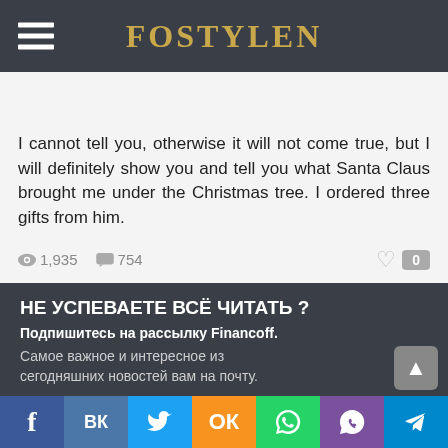FOSTYLEN
I cannot tell you, otherwise it will not come true, but I will definitely show you and tell you what Santa Claus brought me under the Christmas tree. I ordered three gifts from him.
👁 1,935   💬 754   ♡ 0
НЕ УСПЕВАЕТЕ ВСЁ ЧИТАТЬ ?
Подпишитесь на рассылку Financoff.
Самое важное и интересное из сегодняшних новостей вам на почту.
Это бесплатно.
f ВК 🐦 ОК WhatsApp Viber Telegram